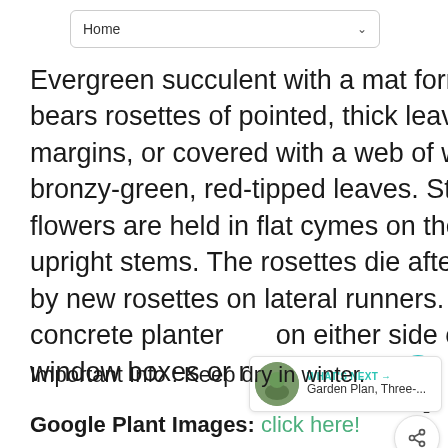Home
Evergreen succulent with a mat forming growth habit, that bears rosettes of pointed, thick leaves, many times with bristly margins, or covered with a web of white hair. Boissieri has bronzy-green, red-tipped leaves. Star-shaped, reddish-purple flowers are held in flat cymes on the terminal ends of hairy, upright stems. The rosettes die after flowering but are replaced by new rosettes on lateral runners. An old time favorite used in concrete planters on either side of the front entry. Great in window boxes or niches.
Important Info : Keep dry in winter.
Google Plant Images: click here!